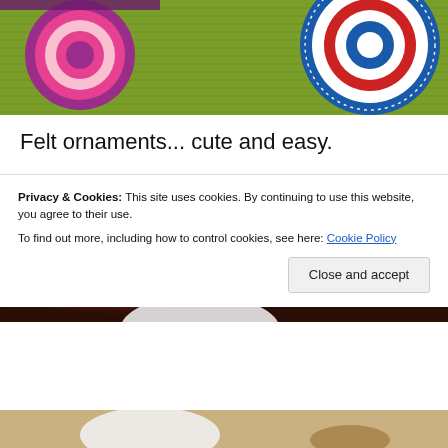[Figure (photo): Felt ornaments on a green woven mat background — colorful circular felt ornaments visible on the right side with red, white, blue concentric circles, and a purple/red ornament on the left.]
Felt ornaments... cute and easy.
Advertisements
[Figure (screenshot): Red advertisement banner reading 'An app by listeners.' with a dark icon showing 'dis-trib-uted' text and a circular logo on the right.]
[Figure (photo): Christmas scene with red tinsel/garland bokeh lights in warm tones, with what appears to be a white dish or decoration partially visible.]
Privacy & Cookies: This site uses cookies. By continuing to use this website, you agree to their use.
To find out more, including how to control cookies, see here: Cookie Policy
[Figure (photo): Bottom portion showing what appears to be a white plate or dish and some brown objects on a surface.]